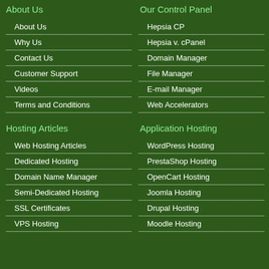About Us
About Us
Why Us
Contact Us
Customer Support
Videos
Terms and Conditions
Our Control Panel
Hepsia CP
Hepsia v. cPanel
Domain Manager
File Manager
E-mail Manager
Web Accelerators
Hosting Articles
Web Hosting Articles
Dedicated Hosting
Domain Name Manager
Semi-Dedicated Hosting
SSL Certificates
VPS Hosting
Application Hosting
WordPress Hosting
PrestaShop Hosting
OpenCart Hosting
Joomla Hosting
Drupal Hosting
Moodle Hosting